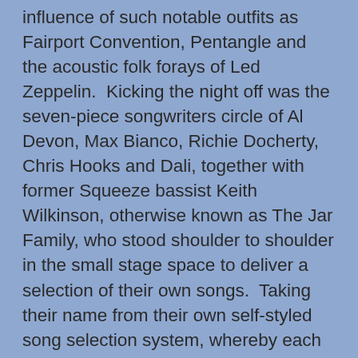influence of such notable outfits as Fairport Convention, Pentangle and the acoustic folk forays of Led Zeppelin.  Kicking the night off was the seven-piece songwriters circle of Al Devon, Max Bianco, Richie Docherty, Chris Hooks and Dali, together with former Squeeze bassist Keith Wilkinson, otherwise known as The Jar Family, who stood shoulder to shoulder in the small stage space to deliver a selection of their own songs.  Taking their name from their own self-styled song selection system, whereby each of the band's new songs are placed in a jar then chosen randomly during their initial try out period.  A democratic system necessary for a collective inhabited by five diverse songwriters.  Starting with their hometown anthem Poolie Strut, the collective demonstrated their versatility throughout the set, swapping and changing instruments throughout to suit each of the song's